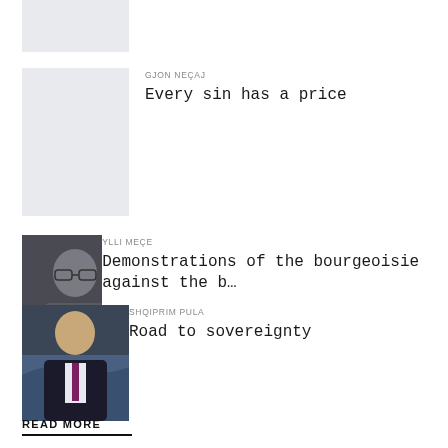[Figure (photo): Partially visible thumbnail image, cropped at top of page]
GJON NEÇAJ
Every sin has a price
[Figure (photo): Light gray placeholder image for GJON NEÇAJ article]
YLLI MEÇE
Demonstrations of the bourgeoisie against the b...
[Figure (photo): Photo of Ylli Meçe, man in suit with glasses]
SHQIPRIM PULA
Road to sovereignty
[Figure (photo): Photo of Shqiprim Pula, man in dark suit]
READ MORE